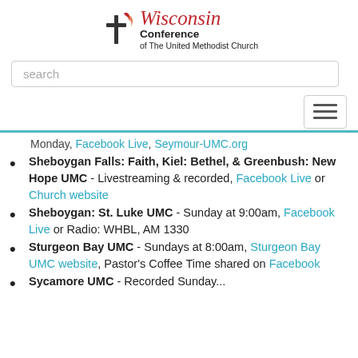[Figure (logo): Wisconsin Conference of The United Methodist Church logo with flame and cross icon]
search
Monday, Facebook Live, Seymour-UMC.org
Sheboygan Falls: Faith, Kiel: Bethel, & Greenbush: New Hope UMC - Livestreaming & recorded, Facebook Live or Church website
Sheboygan: St. Luke UMC - Sunday at 9:00am, Facebook Live or Radio: WHBL, AM 1330
Sturgeon Bay UMC - Sundays at 8:00am, Sturgeon Bay UMC website, Pastor's Coffee Time shared on Facebook
Sycamore UMC - Recorded Sunday...